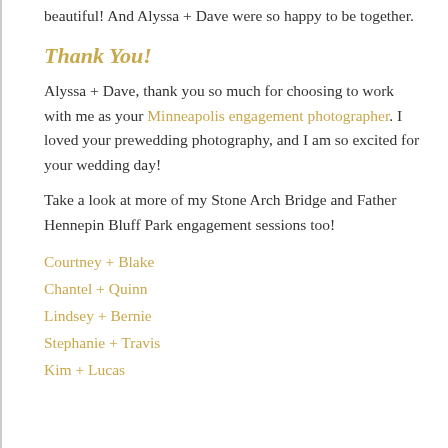beautiful! And Alyssa + Dave were so happy to be together.
Thank You!
Alyssa + Dave, thank you so much for choosing to work with me as your Minneapolis engagement photographer. I loved your prewedding photography, and I am so excited for your wedding day!
Take a look at more of my Stone Arch Bridge and Father Hennepin Bluff Park engagement sessions too!
Courtney + Blake
Chantel + Quinn
Lindsey + Bernie
Stephanie + Travis
Kim + Lucas